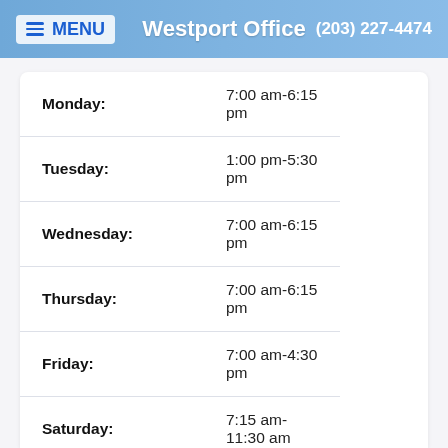MENU | Westport Office | (203) 227-4474
| Day | Hours |
| --- | --- |
| Monday: | 7:00 am-6:15 pm |
| Tuesday: | 1:00 pm-5:30 pm |
| Wednesday: | 7:00 am-6:15 pm |
| Thursday: | 7:00 am-6:15 pm |
| Friday: | 7:00 am-4:30 pm |
| Saturday: | 7:15 am-11:30 am |
| Sunday: | Closed |